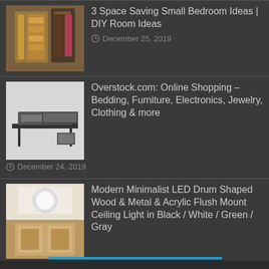3 Space Saving Small Bedroom Ideas | DIY Room Ideas
December 25, 2019
Overstock.com: Online Shopping – Bedding, Furniture, Electronics, Jewelry, Clothing & more
December 24, 2019
Modern Minimalist LED Drum Shaped Wood & Metal & Acrylic Flush Mount Ceiling Light in Black / White / Green / Gray
December 23, 2019
17 DIY Mid-Century Modern Furniture ~ Matchness.com
December 25, 2019